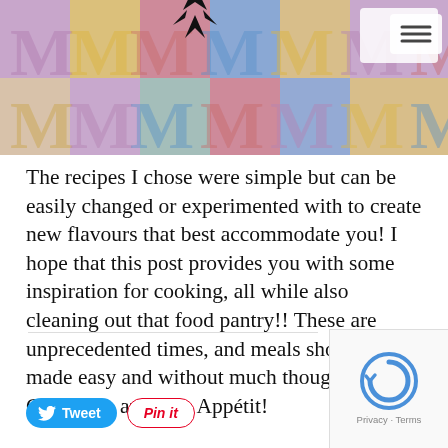[Blog header with decorative background and logo]
The recipes I chose were simple but can be easily changed or experimented with to create new flavours that best accommodate you! I hope that this post provides you with some inspiration for cooking, all while also cleaning out that food pantry!! These are unprecedented times, and meals should be made easy and without much thought. Смачного and Bon Appétit!